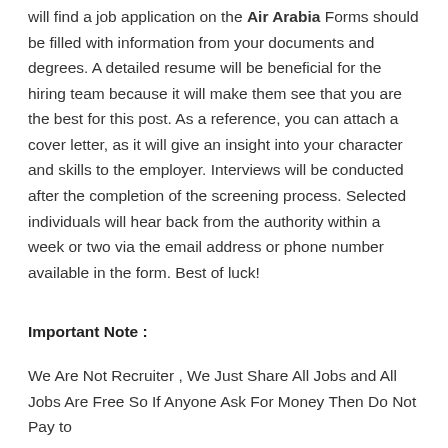will find a job application on the Air Arabia Forms should be filled with information from your documents and degrees. A detailed resume will be beneficial for the hiring team because it will make them see that you are the best for this post. As a reference, you can attach a cover letter, as it will give an insight into your character and skills to the employer. Interviews will be conducted after the completion of the screening process. Selected individuals will hear back from the authority within a week or two via the email address or phone number available in the form. Best of luck!
Important Note :
We Are Not Recruiter , We Just Share All Jobs and All Jobs Are Free So If Anyone Ask For Money Then Do Not Pay to